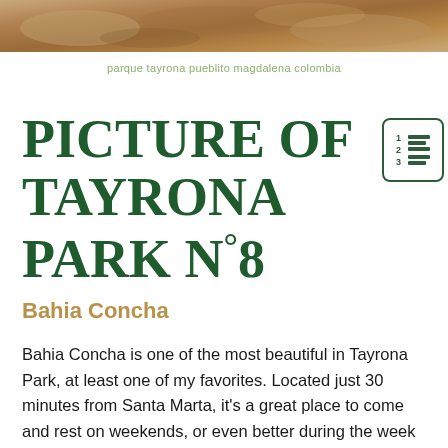[Figure (photo): Top portion of a photo showing Parque Tayrona Pueblito Magdalena Colombia landscape with sandy/rocky earthen tones]
parque tayrona pueblito magdalena colombia
PICTURE OF TAYRONA PARK N°8
Bahia Concha
Bahia Concha is one of the most beautiful in Tayrona Park, at least one of my favorites. Located just 30 minutes from Santa Marta, it's a great place to come and rest on weekends, or even better during the week because it's less crowded.